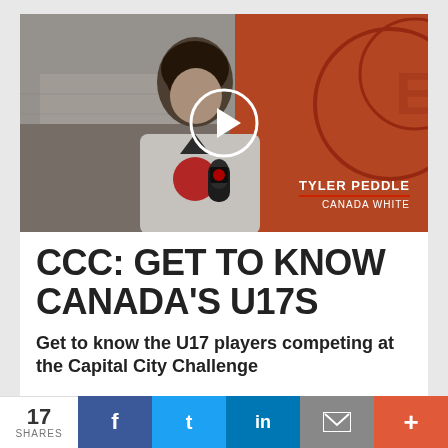[Figure (photo): Hockey player Tyler Peddle wearing a Canada White jersey being interviewed with a microphone in front of an orange background at a hockey rink. A white circle play button overlay is in the center. Name overlay reads TYLER PEDDLE / CANADA WHITE.]
CCC: GET TO KNOW CANADA'S U17S
Get to know the U17 players competing at the Capital City Challenge
17 SHARES
f  t  in  ✉  +